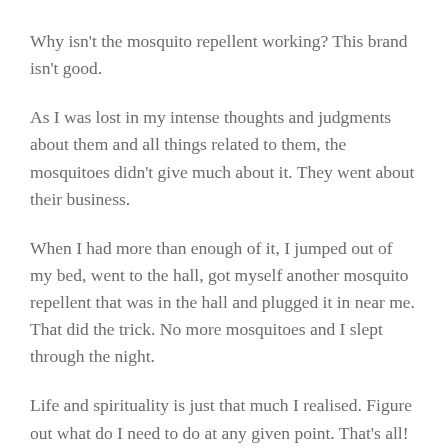Why isn't the mosquito repellent working? This brand isn't good.
As I was lost in my intense thoughts and judgments about them and all things related to them, the mosquitoes didn't give much about it. They went about their business.
When I had more than enough of it, I jumped out of my bed, went to the hall, got myself another mosquito repellent that was in the hall and plugged it in near me. That did the trick. No more mosquitoes and I slept through the night.
Life and spirituality is just that much I realised. Figure out what do I need to do at any given point. That's all! The rest isn't my business.